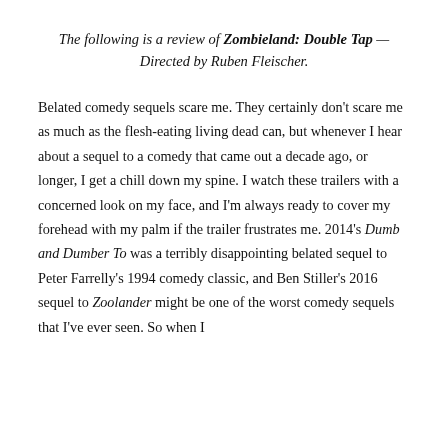The following is a review of Zombieland: Double Tap — Directed by Ruben Fleischer.
Belated comedy sequels scare me. They certainly don't scare me as much as the flesh-eating living dead can, but whenever I hear about a sequel to a comedy that came out a decade ago, or longer, I get a chill down my spine. I watch these trailers with a concerned look on my face, and I'm always ready to cover my forehead with my palm if the trailer frustrates me. 2014's Dumb and Dumber To was a terribly disappointing belated sequel to Peter Farrelly's 1994 comedy classic, and Ben Stiller's 2016 sequel to Zoolander might be one of the worst comedy sequels that I've ever seen. So when I